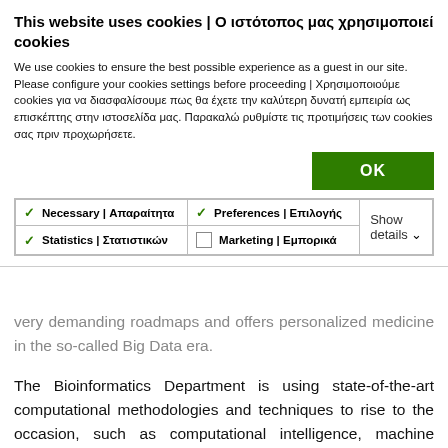This website uses cookies | Ο ιστότοπος μας χρησιμοποιεί cookies
We use cookies to ensure the best possible experience as a guest in our site. Please configure your cookies settings before proceeding | Χρησιμοποιούμε cookies για να διασφαλίσουμε πως θα έχετε την καλύτερη δυνατή εμπειρία ως επισκέπτης στην ιστοσελίδα μας. Παρακαλώ ρυθμίστε τις προτιμήσεις των cookies σας πριν προχωρήσετε.
[Figure (screenshot): OK button (green) and cookie consent checkboxes: Necessary | Απαραίτητα (checked), Preferences | Επιλογής (checked), Statistics | Στατιστικών (checked), Marketing | Εμπορικά (unchecked), Show details dropdown]
very demanding roadmaps and offers personalized medicine in the so-called Big Data era.
The Bioinformatics Department is using state-of-the-art computational methodologies and techniques to rise to the occasion, such as computational intelligence, machine learning, pattern recognition and data mining, modeling and simulation, network reconstruction and visualization, complex network analysis, deep learning, text mining and association analysis.
We are providing horizontal services to all the Departments